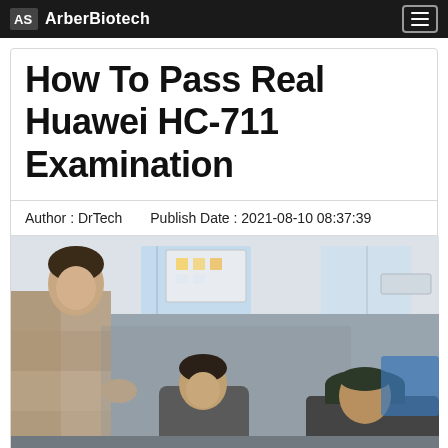ArberBiotech
How To Pass Real Huawei HC-711 Examination
Author : DrTech    Publish Date : 2021-08-10 08:37:39
[Figure (photo): People in a classroom/office environment; a person on the left in a checkered jacket gestures toward a whiteboard; two others sit in the foreground, one wearing a dark cap.]